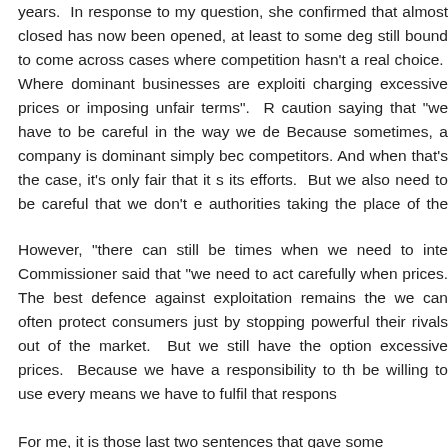years.  In response to my question, she confirmed that almost closed has now been opened, at least to some deg still bound to come across cases where competition hasn't a real choice.  Where dominant businesses are exploiti charging excessive prices or imposing unfair terms".  R caution saying that "we have to be careful in the way we de Because sometimes, a company is dominant simply bec competitors. And when that's the case, it's only fair that it s its efforts.  But we also need to be careful that we don't e authorities taking the place of the market. The last thing w set ourselves up as a regulator, deciding on the right price".
However, "there can still be times when we need to inte Commissioner said that "we need to act carefully when prices. The best defence against exploitation remains the we can often protect consumers just by stopping powerful their rivals out of the market.  But we still have the option excessive prices.  Because we have a responsibility to th be willing to use every means we have to fulfil that respons
For me, it is those last two sentences that gave some